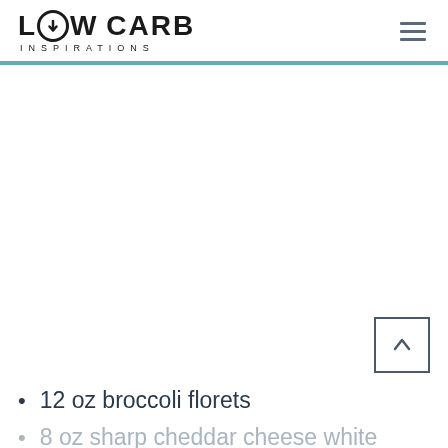LOW CARB INSPIRATIONS
12 oz broccoli florets
8 oz sharp cheddar cheese white
16 oz broth